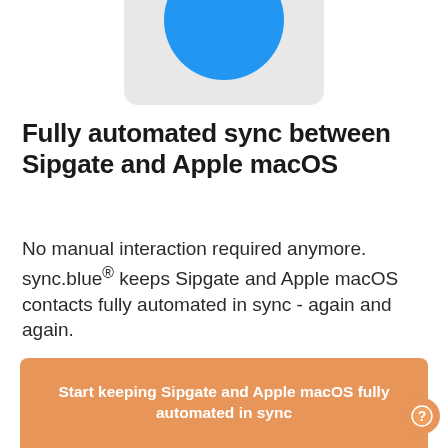[Figure (logo): sync.blue logo: a blue circle on a light gray rounded rectangle background, partially cropped at the top]
Fully automated sync between Sipgate and Apple macOS
No manual interaction required anymore. sync.blue® keeps Sipgate and Apple macOS contacts fully automated in sync - again and again.
Start keeping Sipgate and Apple macOS fully automated in sync